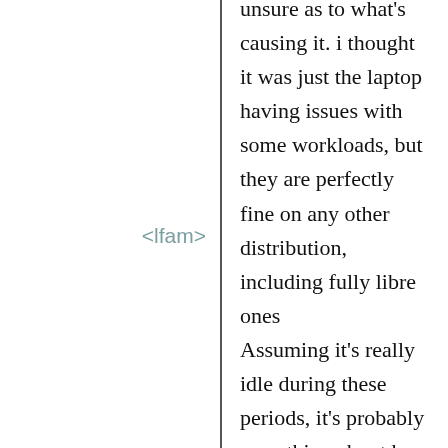unsure as to what's causing it. i thought it was just the laptop having issues with some workloads, but they are perfectly fine on any other distribution, including fully libre ones
<lfam>
Assuming it's really idle during these periods, it's probably something about how we build the kernel. It would be nice to find